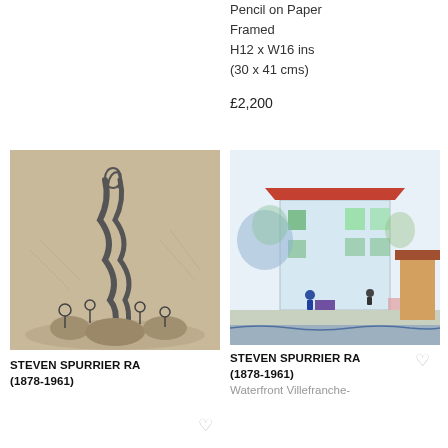Pencil on Paper
Framed
H12 x W16 ins
(30 x 41 cms)
£2,200
[Figure (photo): Black and white pencil sketch of figures clustered around a tall twisting sculptural column, with crowd scene below]
STEVEN SPURRIER RA
(1878-1961)
[Figure (photo): Watercolour painting of a waterfront street scene in Villefranche with white and blue buildings, figures walking, and water in foreground]
STEVEN SPURRIER RA
(1878-1961)
Waterfront Villefranche-